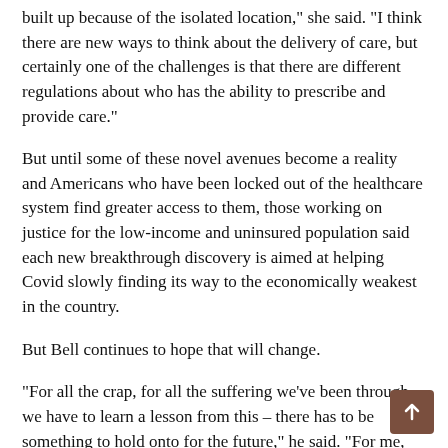throughout the system, and they'd built up redundant functions built up because of the isolated location," she said. "I think there are new ways to think about the delivery of care, but certainly one of the challenges is that there are different regulations about who has the ability to prescribe and provide care."
But until some of these novel avenues become a reality and Americans who have been locked out of the healthcare system find greater access to them, those working on justice for the low-income and uninsured population said each new breakthrough discovery is aimed at helping Covid slowly finding its way to the economically weakest in the country.
But Bell continues to hope that will change.
“For all the crap, for all the suffering we’ve been through, we have to learn a lesson from this – there has to be something to hold onto for the future,” he said. “For me, that really means prioritizing health equity and thinking about healthcare in a very different way than before.”